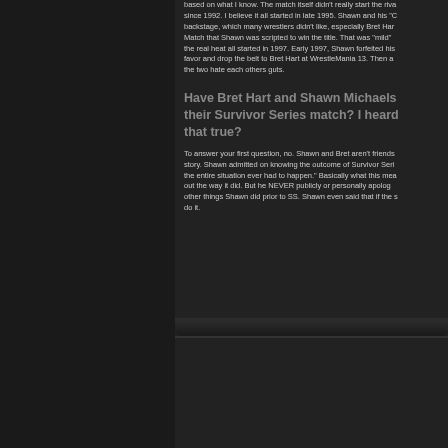based on what I know. The match itself didn't really start the riva since 1992. I believe it all started in late 1995. Shawn and his "C backstage, which many wrestlers didn't like, especially Bret Har Match that Shawn was scripted to win the title. That was "mild" the real heat all started in 1997. Early 1997, Shawn forfeited his favor and drop the belt to Bret Hart at WrestleMania 13. Then a the two hate each others guts.
Have Bret Hart and Shawn Michaels their Survivor Series match? I heard that true?
To answer your first question, no. Shawn and Bret aren't friends story. Shawn admitted on knowing the outcome of Survivor Seri the entire situation ever had to happen." Basically what this mea out the way it did. But he NEVER publicly or personally apolog other things Shawn did prior to SS. Shawn even said that if the s do it.